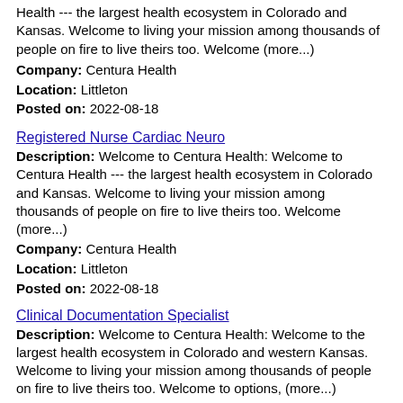Health --- the largest health ecosystem in Colorado and Kansas. Welcome to living your mission among thousands of people on fire to live theirs too. Welcome (more...)
Company: Centura Health
Location: Littleton
Posted on: 2022-08-18
Registered Nurse Cardiac Neuro
Description: Welcome to Centura Health: Welcome to Centura Health --- the largest health ecosystem in Colorado and Kansas. Welcome to living your mission among thousands of people on fire to live theirs too. Welcome (more...)
Company: Centura Health
Location: Littleton
Posted on: 2022-08-18
Clinical Documentation Specialist
Description: Welcome to Centura Health: Welcome to the largest health ecosystem in Colorado and western Kansas. Welcome to living your mission among thousands of people on fire to live theirs too. Welcome to options, (more...)
Company: Centura Health
Location: Littleton
Posted on: 2022-08-18
Registered Nurse NICU
Description: Welcome to Centura Health: Welcome to Centura Health --- the largest health ecosystem in Colorado and Kansas.